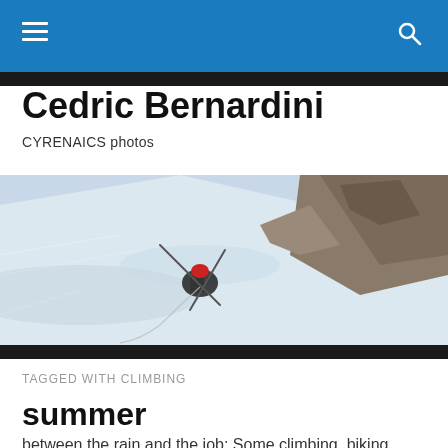Cedric Bernardini — navigation header
Cedric Bernardini
CYRENAICS photos
[Figure (photo): A mountaineer climbing a steep snow and rock face, carrying ski poles, wearing a red helmet and dark jacket.]
TAGGED WITH CLIMBING
summer
between the rain and the job; Some climbing, biking…